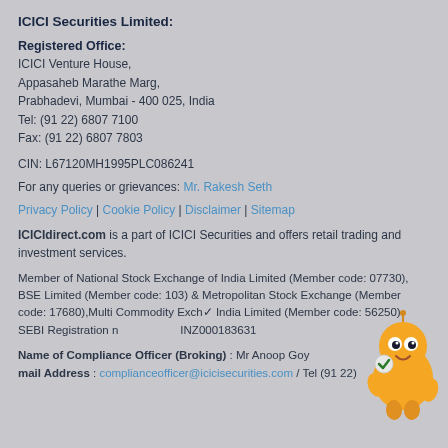ICICI Securities Limited:
Registered Office:
ICICI Venture House,
Appasaheb Marathe Marg,
Prabhadevi, Mumbai - 400 025, India
Tel: (91 22) 6807 7100
Fax: (91 22) 6807 7803
CIN: L67120MH1995PLC086241
For any queries or grievances: Mr. Rakesh Seth
Privacy Policy | Cookie Policy | Disclaimer | Sitemap
ICICIdirect.com is a part of ICICI Securities and offers retail trading and investment services.
Member of National Stock Exchange of India Limited (Member code: 07730), BSE Limited (Member code: 103) & Metropolitan Stock Exchange (Member code: 17680),Multi Commodity Exchange India Limited (Member code: 56250) SEBI Registration no INZ000183631
Name of Compliance Officer (Broking) : Mr Anoop Goy... mail Address : complianceofficer@icicisecurities.com / Tel (91 22)
[Figure (illustration): Orange cartoon robot/mascot character with a checkmark badge, smiling, positioned in lower right corner]